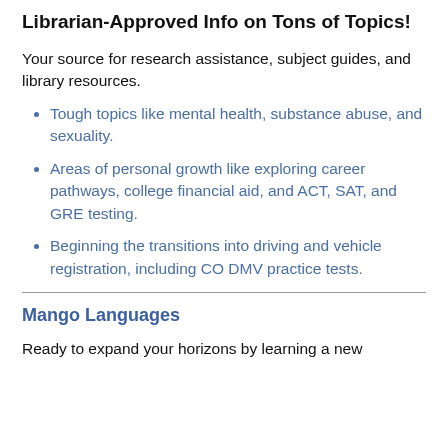Librarian-Approved Info on Tons of Topics!
Your source for research assistance, subject guides, and library resources.
Tough topics like mental health, substance abuse, and sexuality.
Areas of personal growth like exploring career pathways, college financial aid, and ACT, SAT, and GRE testing.
Beginning the transitions into driving and vehicle registration, including CO DMV practice tests.
Mango Languages
Ready to expand your horizons by learning a new